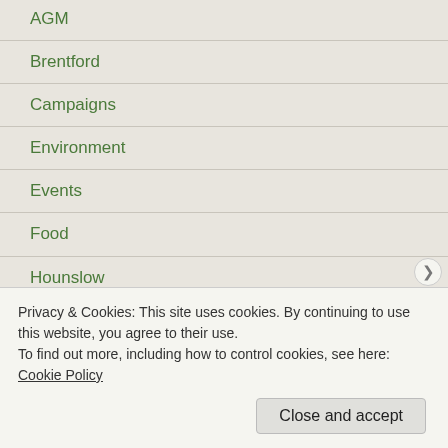AGM
Brentford
Campaigns
Environment
Events
Food
Hounslow
Litter
Meeting announcement
Members
Privacy & Cookies: This site uses cookies. By continuing to use this website, you agree to their use.
To find out more, including how to control cookies, see here: Cookie Policy
Close and accept